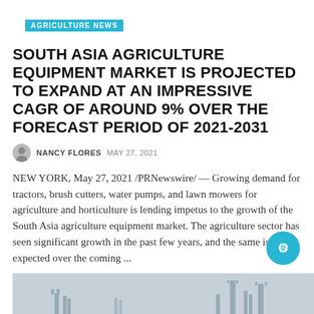AGRICULTURE NEWS
SOUTH ASIA AGRICULTURE EQUIPMENT MARKET IS PROJECTED TO EXPAND AT AN IMPRESSIVE CAGR OF AROUND 9% OVER THE FORECAST PERIOD OF 2021-2031
NANCY FLORES  MAY 27, 2021
NEW YORK, May 27, 2021 /PRNewswire/ — Growing demand for tractors, brush cutters, water pumps, and lawn mowers for agriculture and horticulture is lending impetus to the growth of the South Asia agriculture equipment market. The agriculture sector has seen significant growth in the past few years, and the same is expected over the coming ...
Read More
[Figure (photo): Bottom partial image, appears to be a cityscape or infrastructure photo in grayscale]